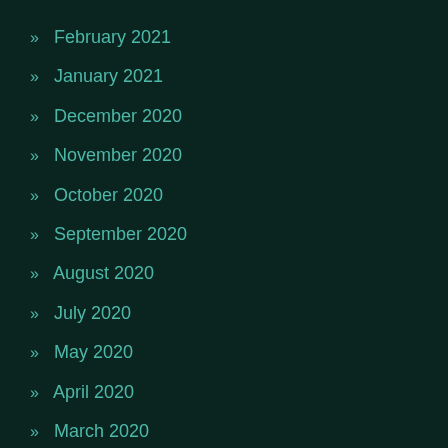» February 2021
» January 2021
» December 2020
» November 2020
» October 2020
» September 2020
» August 2020
» July 2020
» May 2020
» April 2020
» March 2020
» February 2020
» December 2019
» November 2019